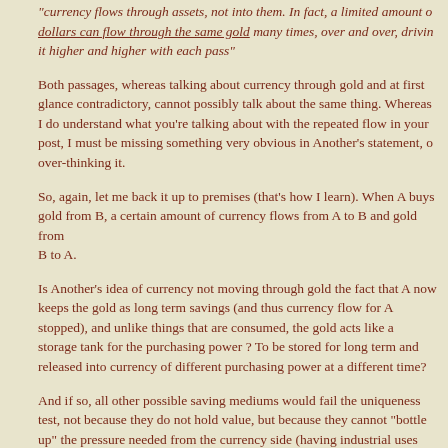"currency flows through assets, not into them. In fact, a limited amount of dollars can flow through the same gold many times, over and over, driving it higher and higher with each pass"
Both passages, whereas talking about currency through gold and at first glance contradictory, cannot possibly talk about the same thing. Whereas I do understand what you're talking about with the repeated flow in your post, I must be missing something very obvious in Another's statement, or over-thinking it.
So, again, let me back it up to premises (that's how I learn). When A buys gold from B, a certain amount of currency flows from A to B and gold from B to A.
Is Another's idea of currency not moving through gold the fact that A now keeps the gold as long term savings (and thus currency flow for A stopped), and unlike things that are consumed, the gold acts like a storage tank for the purchasing power ? To be stored for long term and released into currency of different purchasing power at a different time?
And if so, all other possible saving mediums would fail the uniqueness test, not because they do not hold value, but because they cannot "bottle up" the pressure needed from the currency side (having industrial uses and not being a "focal point")?